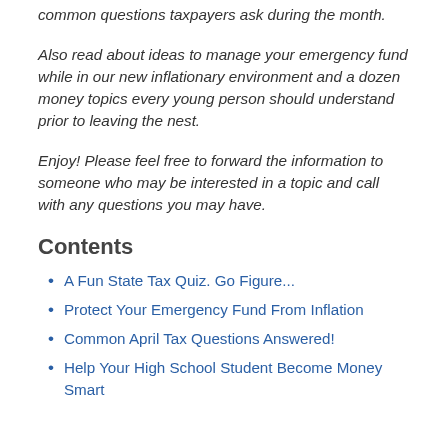common questions taxpayers ask during the month.
Also read about ideas to manage your emergency fund while in our new inflationary environment and a dozen money topics every young person should understand prior to leaving the nest.
Enjoy! Please feel free to forward the information to someone who may be interested in a topic and call with any questions you may have.
Contents
A Fun State Tax Quiz. Go Figure...
Protect Your Emergency Fund From Inflation
Common April Tax Questions Answered!
Help Your High School Student Become Money Smart